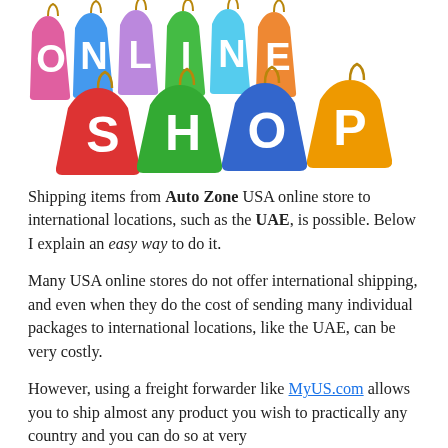[Figure (illustration): Colorful shopping bags spelling out ONLINE SHOP with bold white letters on variously colored bags — pink, blue, green, blue, orange for ONLINE on top row, and red, green, blue, orange for SHOP on bottom row.]
Shipping items from Auto Zone USA online store to international locations, such as the UAE, is possible. Below I explain an easy way to do it.
Many USA online stores do not offer international shipping, and even when they do the cost of sending many individual packages to international locations, like the UAE, can be very costly.
However, using a freight forwarder like MyUS.com allows you to ship almost any product you wish to practically any country and you can do so at very